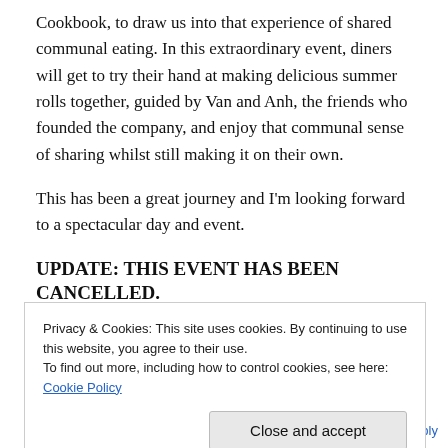Cookbook, to draw us into that experience of shared communal eating. In this extraordinary event, diners will get to try their hand at making delicious summer rolls together, guided by Van and Anh, the friends who founded the company, and enjoy that communal sense of sharing whilst still making it on their own.
This has been a great journey and I'm looking forward to a spectacular day and event.
UPDATE: THIS EVENT HAS BEEN CANCELLED.
Unfortunately, due to unforeseen circumstances
Privacy & Cookies: This site uses cookies. By continuing to use this website, you agree to their use.
To find out more, including how to control cookies, see here: Cookie Policy
04/10/2013   Leave a Reply